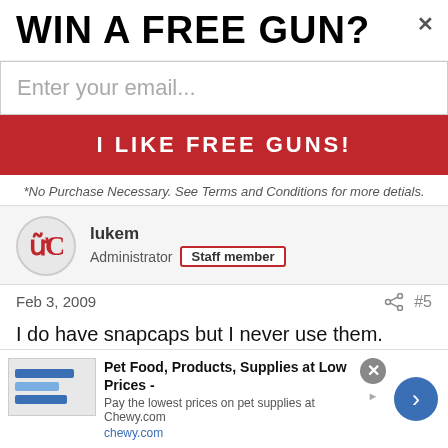WIN A FREE GUN?
Enter your email...
I LIKE FREE GUNS!
*No Purchase Necessary. See Terms and Conditions for more detials.
lukem
Administrator  Staff member
Feb 3, 2009   #5
I do have snapcaps but I never use them.
Boomboy007
New member
Pet Food, Products, Supplies at Low Prices - Pay the lowest prices on pet supplies at Chewy.com chewy.com